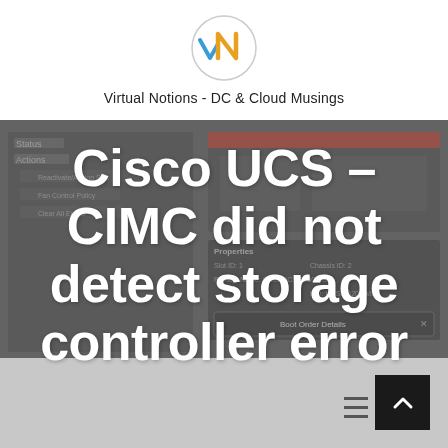[Figure (logo): Virtual Notions logo: circle with stylized vN letters in blue, orange, and gold]
Virtual Notions - DC & Cloud Musings
[Figure (screenshot): Cisco UCS CIMC management interface screenshot showing server properties panel with Boot Order Details dialog, slot ID, chassis ID, product name Cisco UCS B200 M3, and PID UCS8-B200-M3]
Cisco UCS – CIMC did not detect storage controller error